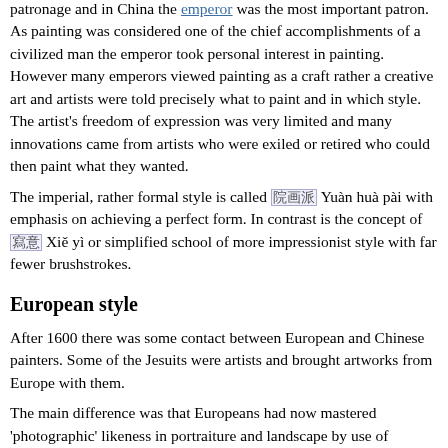patronage and in China the emperor was the most important patron. As painting was considered one of the chief accomplishments of a civilized man the emperor took personal interest in painting. However many emperors viewed painting as a craft rather a creative art and artists were told precisely what to paint and in which style. The artist's freedom of expression was very limited and many innovations came from artists who were exiled or retired who could then paint what they wanted.
The imperial, rather formal style is called [院畫派] Yuàn huà pài with emphasis on achieving a perfect form. In contrast is the concept of [寫意] Xiě yì or simplified school of more impressionist style with far fewer brushstrokes.
European style
After 1600 there was some contact between European and Chinese painters. Some of the Jesuits were artists and brought artworks from Europe with them.
The main difference was that Europeans had now mastered 'photographic' likeness in portraiture and landscape by use of perspective and shading in oil paint. To the Chinese they were seen